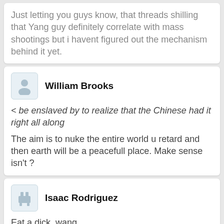Just letting you guys know, that threads shilling that Yang guy definitely correlate with mass shootings but i havent figured out the mechanism behind it yet.
William Brooks
< be enslaved by to realize that the Chinese had it right all along
The aim is to nuke the entire world u retard and then earth will be a peacefull place. Make sense isn't ?
Isaac Rodriguez
Eat a dick, wang.
Dominic Long
THE WAR HAS STARTED.
PROTECT THE WHITE RACE